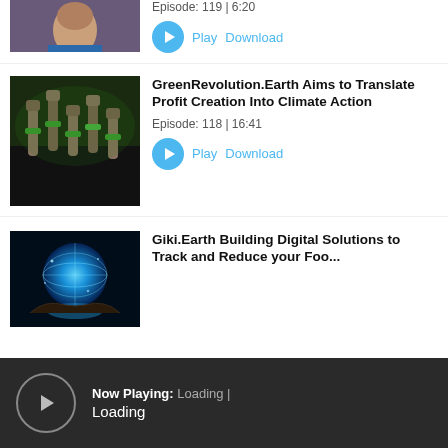[Figure (photo): Partial thumbnail of a person (woman), cropped at top]
Episode: 119 | 6:20
Play  Download
[Figure (photo): Protest/rally photo with raised fists wrapped in green ribbons]
GreenRevolution.Earth Aims to Translate Profit Creation Into Climate Action
Episode: 118 | 16:41
Play  Download
[Figure (photo): Glowing digital globe held in hands with blue energy light]
Giki.Earth Building Digital Solutions to Track and Reduce your Foo...
Now Playing: Loading | Loading